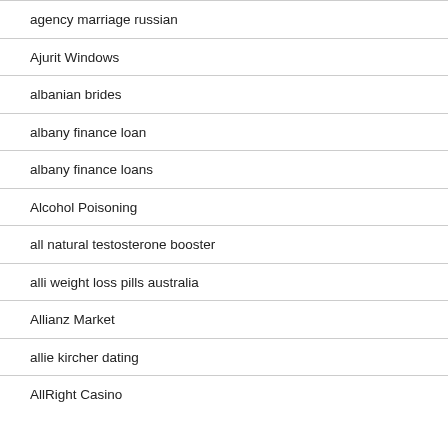agency marriage russian
Ajurit Windows
albanian brides
albany finance loan
albany finance loans
Alcohol Poisoning
all natural testosterone booster
alli weight loss pills australia
Allianz Market
allie kircher dating
AllRight Casino